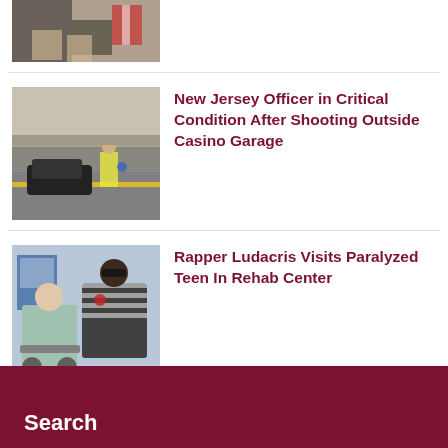[Figure (photo): Partially visible photo at top of page, appears to show people seated with flags in background]
[Figure (photo): Street scene with police tape and officer in yellow vest near a dark car outside a casino garage]
New Jersey Officer in Critical Condition After Shooting Outside Casino Garage
[Figure (photo): Two people posing together indoors, one in a wheelchair, in a rehab center setting]
Rapper Ludacris Visits Paralyzed Teen In Rehab Center
Search